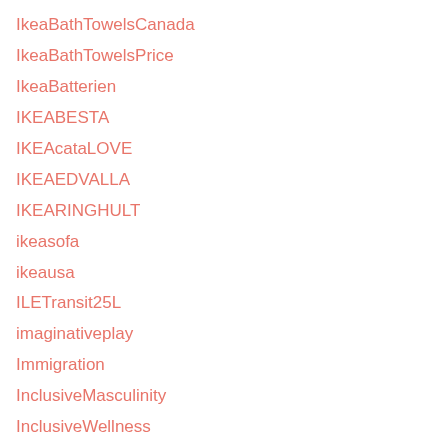IkeaBathTowelsCanada
IkeaBathTowelsPrice
IkeaBatterien
IKEABESTA
IKEAcataLOVE
IKEAEDVALLA
IKEARINGHULT
ikeasofa
ikeausa
ILETransit25L
imaginativeplay
Immigration
InclusiveMasculinity
InclusiveWellness
India